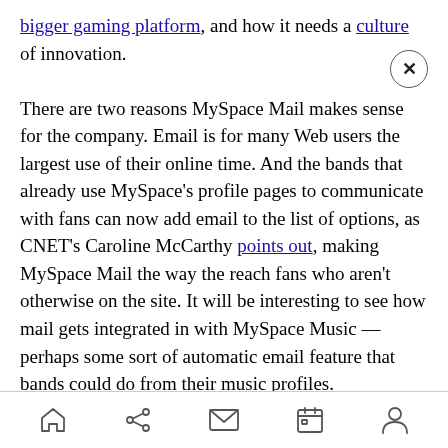bigger gaming platform, and how it needs a culture of innovation. There are two reasons MySpace Mail makes sense for the company. Email is for many Web users the largest use of their online time. And the bands that already use MySpace's profile pages to communicate with fans can now add email to the list of options, as CNET's Caroline McCarthy points out, making MySpace Mail the way the reach fans who aren't otherwise on the site. It will be interesting to see how mail gets integrated in with MySpace Music — perhaps some sort of automatic email feature that bands could do from their music profiles.
[home] [share] [mail] [calendar] [profile]